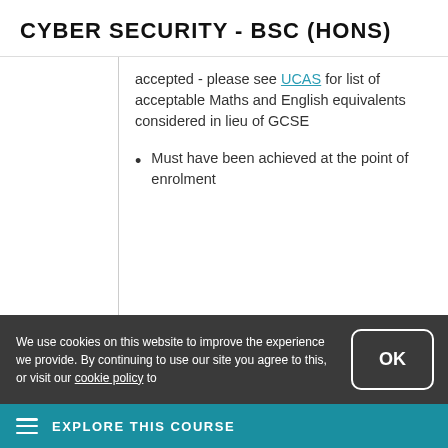CYBER SECURITY - BSC (HONS)
accepted - please see UCAS for list of acceptable Maths and English equivalents considered in lieu of GCSE
Must have been achieved at the point of enrolment
We use cookies on this website to improve the experience we provide. By continuing to use our site you agree to this, or visit our cookie policy to
EXPLORE THIS COURSE